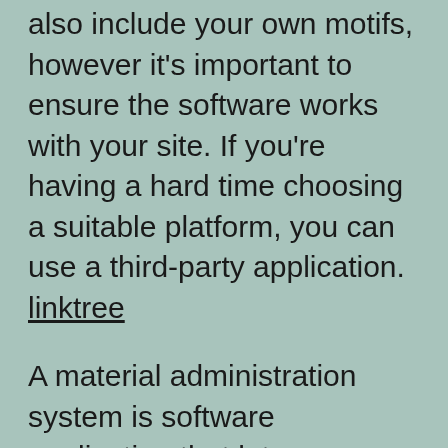also include your own motifs, however it's important to ensure the software works with your site. If you're having a hard time choosing a suitable platform, you can use a third-party application. linktree
A material administration system is software application that lets you produce and manage your online forum. The software offers the capability to organize and classify the material on your online forum. You can tailor your content monitoring software to match your website's design. In addition, a material monitoring system is necessary to maintain the